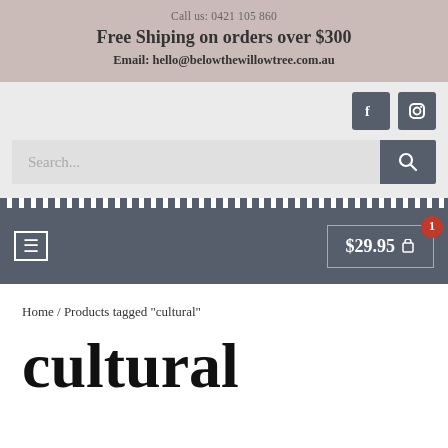Call us: 0421 105 860
Free Shiping on orders over $300
Email: hello@belowthewillowtree.com.au
[Figure (screenshot): Social media icons: Facebook and Instagram buttons in dark grey]
[Figure (screenshot): Search bar with search button]
[Figure (screenshot): Navigation bar with hamburger menu and cart showing $29.95 with badge count 1]
Home / Products tagged "cultural"
cultural